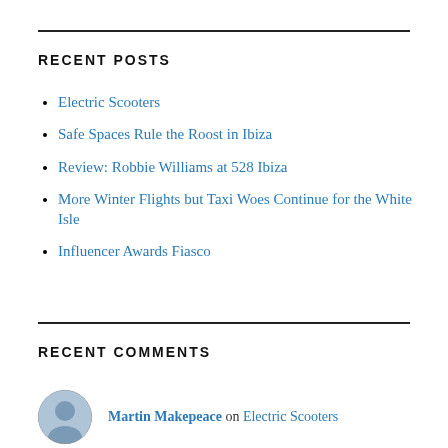RECENT POSTS
Electric Scooters
Safe Spaces Rule the Roost in Ibiza
Review: Robbie Williams at 528 Ibiza
More Winter Flights but Taxi Woes Continue for the White Isle
Influencer Awards Fiasco
RECENT COMMENTS
Martin Makepeace on Electric Scooters